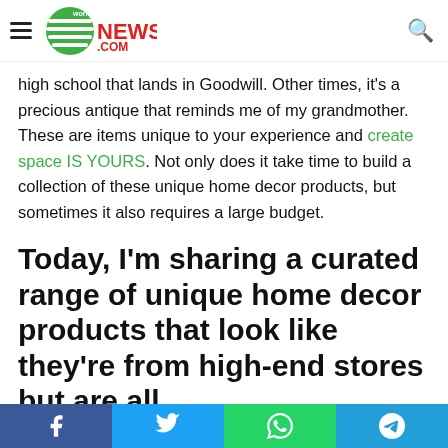NEWS7g.COM
high school that lands in Goodwill. Other times, it’s a precious antique that reminds me of my grandmother. These are items unique to your experience and create space IS YOURS. Not only does it take time to build a collection of these unique home decor products, but sometimes it also requires a large budget.
Today, I’m sharing a curated range of unique home decor products that look like they’re from high-end stores but are all
[Figure (other): Social share bar with Facebook, Twitter, WhatsApp, and Telegram icons]